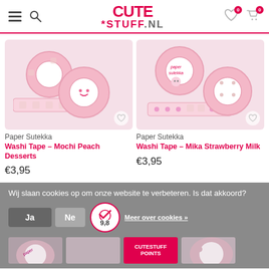CuteStuff.nl — navigation header with logo, hamburger menu, search, wishlist and cart icons
[Figure (photo): Pink washi tape rolls — Mochi Peach Desserts product]
Paper Sutekka
Washi Tape – Mochi Peach Desserts
€3,95
[Figure (photo): Pink washi tape rolls — Mika Strawberry Milk product]
Paper Sutekka
Washi Tape – Mika Strawberry Milk
€3,95
Wij slaan cookies op om onze website te verbeteren. Is dat akkoord?
Ja
Nee
Meer over cookies »
9,8
CUTESTUFF POINTS